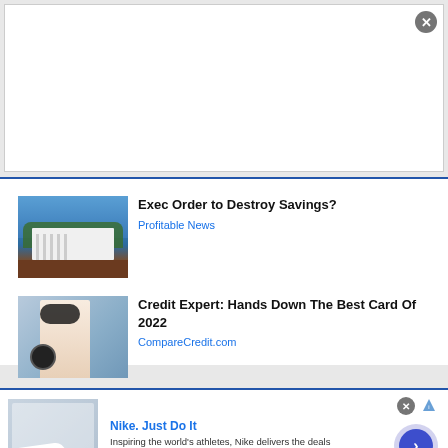[Figure (other): Top ad banner area, white box with close (X) button in top-right corner]
[Figure (photo): White House photograph with blue sky and green trees]
Exec Order to Destroy Savings?
Profitable News
[Figure (photo): Woman with sunglasses holding a smartphone and credit card]
Credit Expert: Hands Down The Best Card Of 2022
CompareCredit.com
[Figure (screenshot): Nike advertisement banner with shoe image, Nike. Just Do It headline, description text, www.nike.com URL, and navigation arrow button]